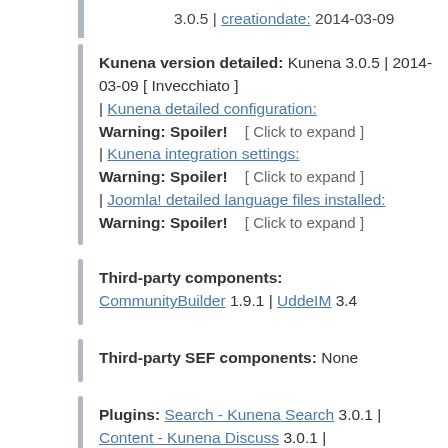3.0.5 | creationdate: 2014-03-09
Kunena version detailed: Kunena 3.0.5 | 2014-03-09 [ Invecchiato ] | Kunena detailed configuration: Warning: Spoiler! [ Click to expand ] | Kunena integration settings: Warning: Spoiler! [ Click to expand ] | Joomla! detailed language files installed: Warning: Spoiler! [ Click to expand ]
Third-party components: CommunityBuilder 1.9.1 | UddeIM 3.4
Third-party SEF components: None
Plugins: Search - Kunena Search 3.0.1 | Content - Kunena Discuss 3.0.1 | JomSocial - My Kunena Forum Menu 2.0.3 | JomSocial - My Kunena Forum Posts